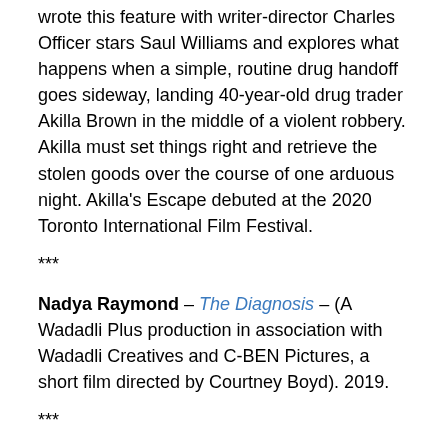wrote this feature with writer-director Charles Officer stars Saul Williams and explores what happens when a simple, routine drug handoff goes sideway, landing 40-year-old drug trader Akilla Brown in the middle of a violent robbery. Akilla must set things right and retrieve the stolen goods over the course of one arduous night. Akilla's Escape debuted at the 2020 Toronto International Film Festival.
***
Nadya Raymond – The Diagnosis – (A Wadadli Plus production in association with Wadadli Creatives and C-BEN Pictures, a short film directed by Courtney Boyd). 2019.
***
Elaine Spires – Elaine is from Essex in the UK and in the